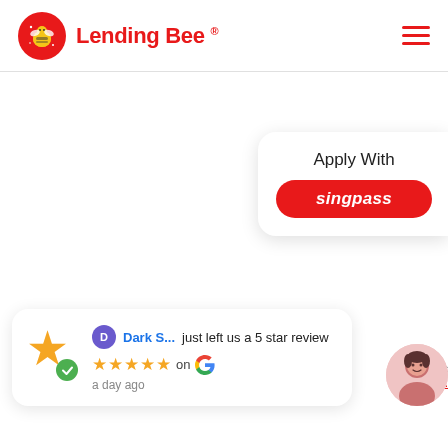[Figure (logo): Lending Bee logo with red circular bee icon and red text 'Lending Bee' with registered trademark symbol, plus hamburger menu icon on the right]
[Figure (infographic): White card with text 'Apply With' and a red Singpass button]
[Figure (infographic): Google review card showing Dark S... just left us a 5 star review with 5 gold stars on Google, posted a day ago, with green checkmark badge on gold star icon]
Open Elec
/ Group.